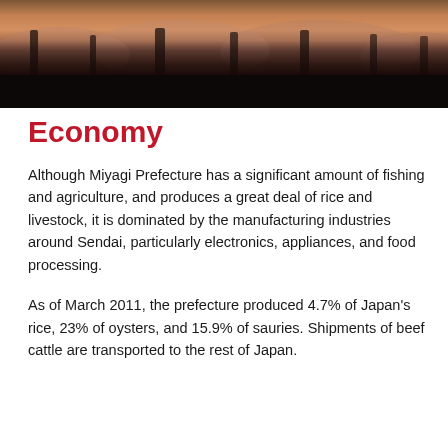[Figure (photo): Aerial or landscape photo of cherry blossom trees at dusk/sunset with a dark sky and dark foreground, with a near-black strip at the bottom]
Economy
Although Miyagi Prefecture has a significant amount of fishing and agriculture, and produces a great deal of rice and livestock, it is dominated by the manufacturing industries around Sendai, particularly electronics, appliances, and food processing.
As of March 2011, the prefecture produced 4.7% of Japan's rice, 23% of oysters, and 15.9% of sauries. Shipments of beef cattle are transported to the rest of Japan.